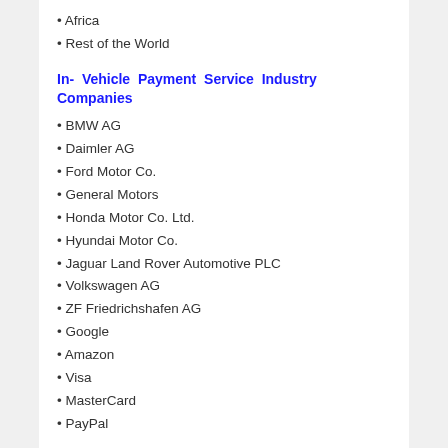Africa
Rest of the World
In- Vehicle Payment Service Industry Companies
BMW AG
Daimler AG
Ford Motor Co.
General Motors
Honda Motor Co. Ltd.
Hyundai Motor Co.
Jaguar Land Rover Automotive PLC
Volkswagen AG
ZF Friedrichshafen AG
Google
Amazon
Visa
MasterCard
PayPal